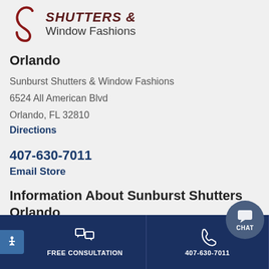[Figure (logo): Sunburst Shutters & Window Fashions logo with a cursive S swirl in dark red and text in dark brown/gray]
Orlando
Sunburst Shutters & Window Fashions
6524 All American Blvd
Orlando, FL 32810
Directions
407-630-7011
Email Store
Information About Sunburst Shutters Orlando
FREE CONSULTATION
407-630-7011